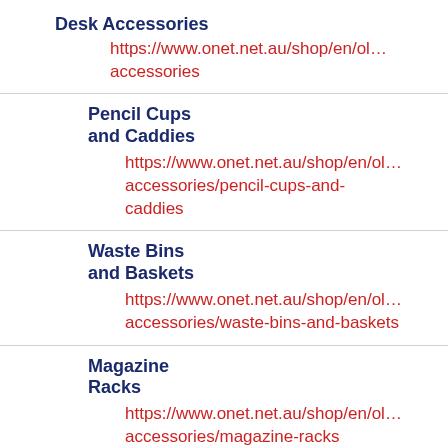Desk Accessories
https://www.onet.net.au/shop/en/ol…
accessories
Pencil Cups
and Caddies
https://www.onet.net.au/shop/en/ol…
accessories/pencil-cups-and-
caddies
Waste Bins
and Baskets
https://www.onet.net.au/shop/en/ol…
accessories/waste-bins-and-baskets
Magazine
Racks
https://www.onet.net.au/shop/en/ol…
accessories/magazine-racks
Drawer Tidy
https://www.onet.net.au/shop/en/ol…